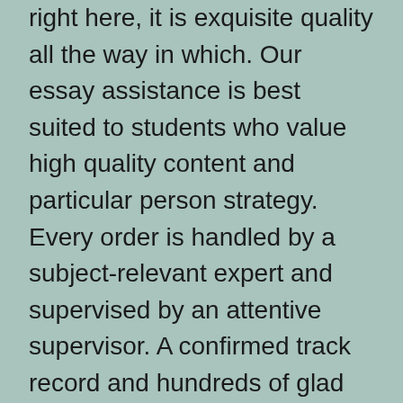right here, it is exquisite quality all the way in which. Our essay assistance is best suited to students who value high quality content and particular person strategy. Every order is handled by a subject-relevant expert and supervised by an attentive supervisor. A confirmed track record and hundreds of glad clients are the first guarantees of your secure and nice expertise right here.
If you may be in search of a cheap essay writing service, you've found the proper place. We have developed a pricing coverage that meets all our purchasers' needs. The costs are